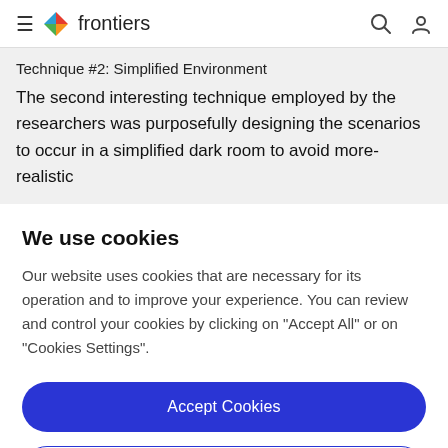frontiers
Technique #2: Simplified Environment
The second interesting technique employed by the researchers was purposefully designing the scenarios to occur in a simplified dark room to avoid more-realistic
We use cookies
Our website uses cookies that are necessary for its operation and to improve your experience. You can review and control your cookies by clicking on "Accept All" or on "Cookies Settings".
Accept Cookies
Cookies Settings